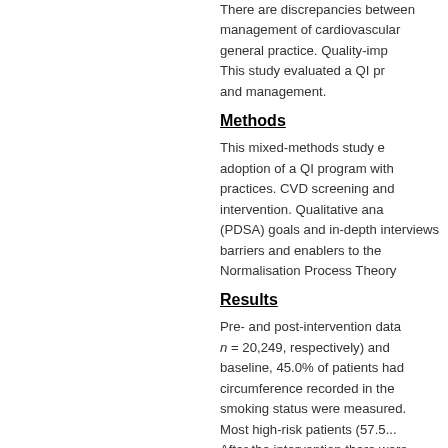There are discrepancies between management of cardiovascular... general practice. Quality-imp... This study evaluated a QI pr... and management.
Methods
This mixed-methods study evaluated adoption of a QI program with... practices. CVD screening and... intervention. Qualitative analysis... (PDSA) goals and in-depth interviews... barriers and enablers to the... Normalisation Process Theory...
Results
Pre- and post-intervention data... n = 20,249, respectively) and... baseline, 45.0% of patients had circumference recorded in the... smoking status were measured... Most high-risk patients (57.5... After the intervention there were... prevalence of risk factors, at... CVD risk-reducing medication... across practices with some...